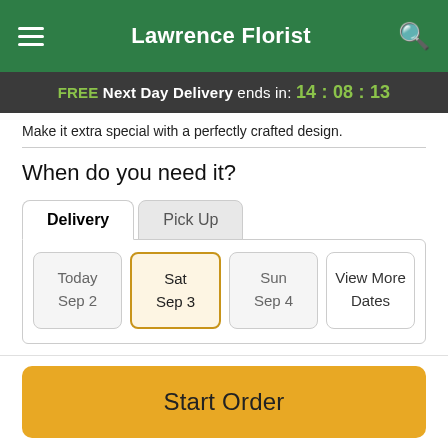Lawrence Florist
FREE Next Day Delivery ends in: 14:08:13
Make it extra special with a perfectly crafted design.
When do you need it?
Delivery | Pick Up
Today Sep 2 | Sat Sep 3 | Sun Sep 4 | View More Dates
Free Delivery for local online orders!
Start Order